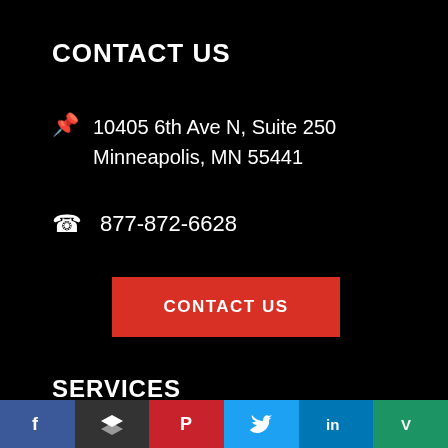CONTACT US
10405 6th Ave N, Suite 250
Minneapolis, MN 55441
877-872-6628
CONTACT US
SERVICES
Influencer Marketing
Content Marketing
Search Engine Marketing
[Figure (other): Social media icons bar: Facebook, Layers/Buffer, Pinterest, Twitter, LinkedIn, Vine]